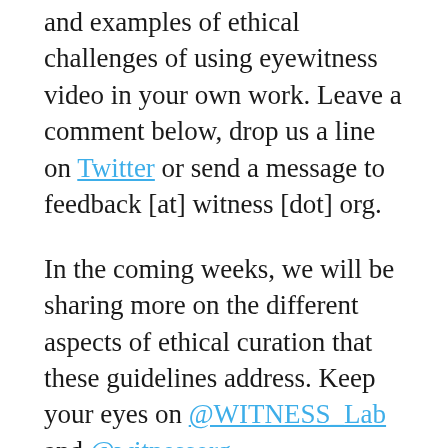and examples of ethical challenges of using eyewitness video in your own work. Leave a comment below, drop us a line on Twitter or send a message to feedback [at] witness [dot] org.
In the coming weeks, we will be sharing more on the different aspects of ethical curation that these guidelines address. Keep your eyes on @WITNESS_Lab and @witnessorg.
Click here to view, download, and share the Ethical Guidelines for Using Eyewitness Videos in Human Rights Reporting and